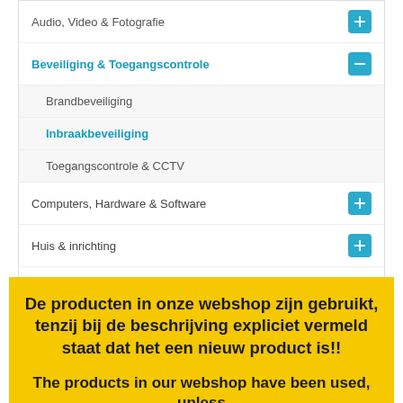Audio, Video & Fotografie
Beveiliging & Toegangscontrole
Brandbeveiliging
Inbraakbeveiliging
Toegangscontrole & CCTV
Computers, Hardware & Software
Huis & inrichting
Meet- en regeltechniek
Navigatiesystemen en accessoires
Telecommunicatie
De producten in onze webshop zijn gebruikt, tenzij bij de beschrijving expliciet vermeld staat dat het een nieuw product is!!
The products in our webshop have been used, unless stated in the description that it is a new